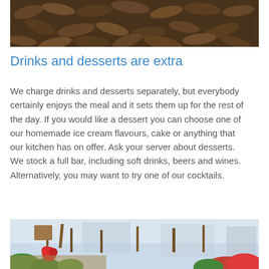[Figure (photo): Close-up photo of dried cocoa pods or similar brown seed pods arranged together]
Drinks and desserts are extra
We charge drinks and desserts separately, but everybody certainly enjoys the meal and it sets them up for the rest of the day. If you would like a dessert you can choose one of our homemade ice cream flavours, cake or anything that our kitchen has on offer. Ask your server about desserts. We stock a full bar, including soft drinks, beers and wines. Alternatively, you may want to try one of our cocktails.
[Figure (photo): Photo of an outdoor restaurant or cafe seating area with wooden chairs and tables, with red tropical flowers in the foreground]